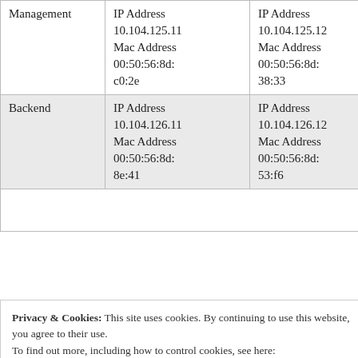|  | Column 1 | Column 2 |
| --- | --- | --- |
| Management | IP Address
10.104.125.11
Mac Address
00:50:56:8d:
c0:2e | IP Address
10.104.125.12
Mac Address
00:50:56:8d:
38:33 |
| Backend | IP Address
10.104.126.11
Mac Address
00:50:56:8d:
8e:41 | IP Address
10.104.126.12
Mac Address
00:50:56:8d:
53:f6 |
Privacy & Cookies: This site uses cookies. By continuing to use this website, you agree to their use.
To find out more, including how to control cookies, see here: Cookie Policy